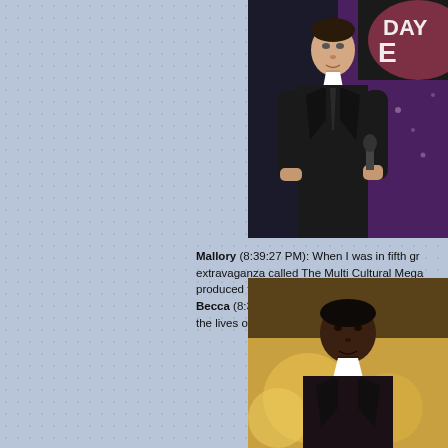[Figure (photo): Man in black suit holding microphone on stage, with TV backdrop showing partial text 'DAY' and 'E']
Mallory (8:39:27 PM): When I was in fifth gr... extravaganza called The Multi Cultural Mega... produced than anything we've seen tonight ... Becca (8:39:55 PM): Montel says daytime is... the lives of young people.  He means daytim...
[Figure (photo): Man in dark suit on stage with golden/warm background lighting]